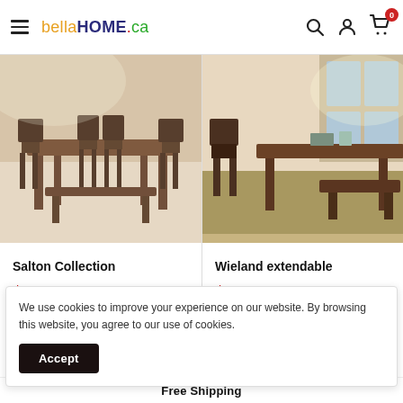bellaHOME.ca
[Figure (photo): Salton Collection dining table set with chairs and bench, dark wood]
Salton Collection
$1,129
[Figure (photo): Wieland extendable dining table set with chairs and bench, dark wood]
Wieland extendable
$1,529
We use cookies to improve your experience on our website. By browsing this website, you agree to our use of cookies.
Accept
Free Shipping